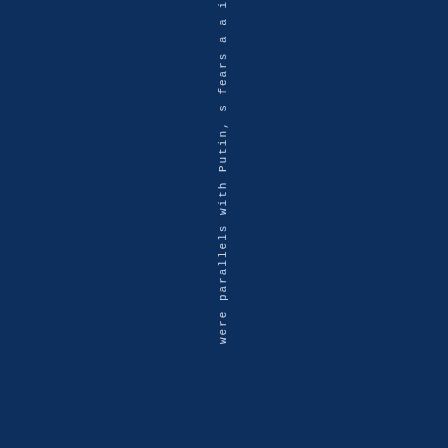were parallels with Putin, s fears a a i